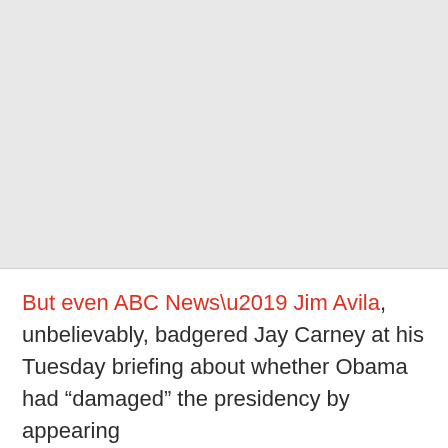[Figure (photo): Large gray placeholder image occupying the upper portion of the page]
But even ABC News’ Jim Avila, unbelievably, badgered Jay Carney at his Tuesday briefing about whether Obama had “damaged” the presidency by appearing